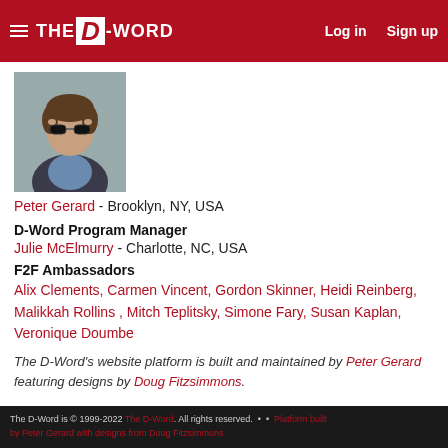THE D-WORD  Log in  Sign up
[Figure (photo): Profile photo of a young man wearing sunglasses and a jacket, adjusting his glasses with both hands against a grey background.]
Peter Gerard - Brooklyn, NY, USA
D-Word Program Manager
Julie McElmurry - Charlotte, NC, USA
F2F Ambassadors
Alix Clements, Carmen Vincent, Gordon Skinner, Heidi Reinberg, Malikkah Rollins , Mitch Teplitsky, Simone Fary, Susan Kaplan, Veronique Doumbe
The D-Word's website platform is built and maintained by Peter Gerard featuring designs by Doug Fitzsimmons.
The D-Word is © 1999-2022 The D-Word. All rights reserved.  •  •  Platform built by Peter Gerard with designs from Doug Fitzsimmons